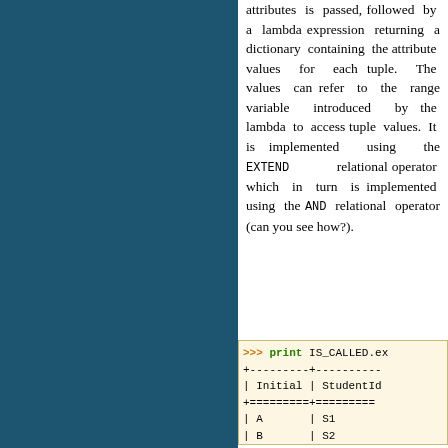attributes is passed, followed by a lambda expression returning a dictionary containing the attribute values for each tuple. The values can refer to the range variable introduced by the lambda to access tuple values. It is implemented using the EXTEND relational operator which in turn is implemented using the AND relational operator (can you see how?).
[Figure (screenshot): Code block showing: >>> print IS_CALLED.ex, table header with | Initial | StudentId, separator lines with +=====, and rows | A | S1, | B | S2]